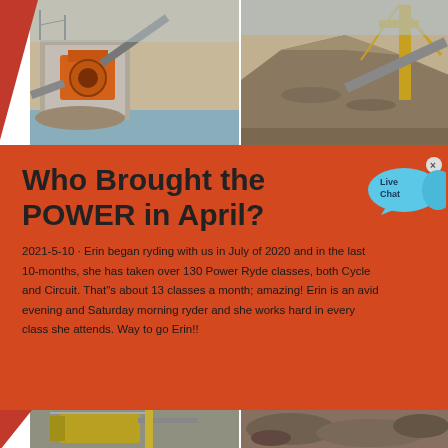[Figure (photo): Two mining/quarry photos side by side at top: left shows orange crushing machinery and conveyor on riverbank, right shows large pile of aggregate material with yellow crane/conveyor equipment]
Who Brought the POWER in April?
2021-5-10  ·  Erin began ryding with us in July of 2020 and in the last 10-months, she has taken over 130 Power Ryde classes, both Cycle and Circuit. That"s about 13 classes a month; amazing! Erin is an avid evening and Saturday morning ryder and she works hard in every class she attends. Way to go Erin!!
[Figure (illustration): Live Chat speech bubble icon in cyan/blue]
[Figure (photo): Bottom strip: two more mining/quarry photos partially visible — left shows yellow industrial equipment, right shows rocky aggregate surface]